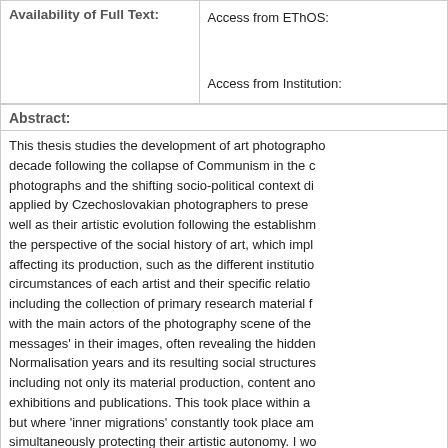| Availability of Full Text: |  |
| --- | --- |
|  | Access from EThOS:

Access from Institution: |
Abstract:
This thesis studies the development of art photography in the decade following the collapse of Communism in the c... photographs and the shifting socio-political context d... applied by Czechoslovakian photographers to prese... well as their artistic evolution following the establishm... the perspective of the social history of art, which impl... affecting its production, such as the different institutio... circumstances of each artist and their specific relatio... including the collection of primary research material f... with the main actors of the photography scene of the... messages' in their images, often revealing the hidden... Normalisation years and its resulting social structures... including not only its material production, content ano... exhibitions and publications. This took place within a... but where 'inner migrations' constantly took place am... simultaneously protecting their artistic autonomy. I wo... observed in their practice after 1989, it is possible to... that took place since 1989 produced different effects...
| Supervisor: | Not available |
| --- | --- |